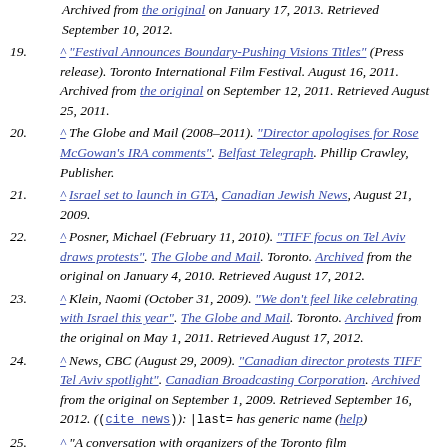Archived from the original on January 17, 2013. Retrieved September 10, 2012.
19. ^ "Festival Announces Boundary-Pushing Visions Titles" (Press release). Toronto International Film Festival. August 16, 2011. Archived from the original on September 12, 2011. Retrieved August 25, 2011.
20. ^ The Globe and Mail (2008–2011). "Director apologises for Rose McGowan's IRA comments". Belfast Telegraph. Phillip Crawley, Publisher.
21. ^ Israel set to launch in GTA, Canadian Jewish News, August 21, 2009.
22. ^ Posner, Michael (February 11, 2010). "TIFF focus on Tel Aviv draws protests". The Globe and Mail. Toronto. Archived from the original on January 4, 2010. Retrieved August 17, 2012.
23. ^ Klein, Naomi (October 31, 2009). "We don't feel like celebrating with Israel this year". The Globe and Mail. Toronto. Archived from the original on May 1, 2011. Retrieved August 17, 2012.
24. ^ News, CBC (August 29, 2009). "Canadian director protests TIFF Tel Aviv spotlight". Canadian Broadcasting Corporation. Archived from the original on September 1, 2009. Retrieved September 16, 2012. ((cite news)): |last= has generic name (help)
25. ^ "A conversation with organizers of the Toronto film